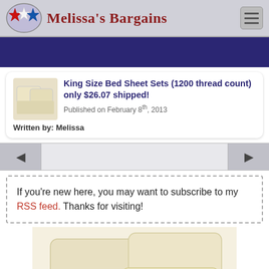Melissa's Bargains
King Size Bed Sheet Sets (1200 thread count) only $26.07 shipped!
Published on February 8th, 2013
Written by: Melissa
If you're new here, you may want to subscribe to my RSS feed. Thanks for visiting!
[Figure (photo): Photo of cream/ivory colored king size bed sheet sets with pillowcases stacked]